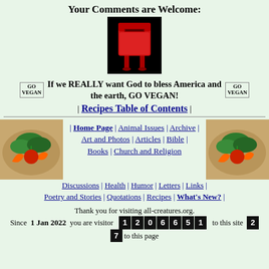Your Comments are Welcome:
[Figure (illustration): Red mailbox/letterbox on black background]
If we REALLY want God to bless America and the earth, GO VEGAN!
| Recipes Table of Contents |
[Figure (photo): Vegetable arrangement on left]
| Home Page | Animal Issues | Archive | Art and Photos | Articles | Bible | Books | Church and Religion | Discussions | Health | Humor | Letters | Links | Poetry and Stories | Quotations | Recipes | What's New? |
[Figure (photo): Vegetable arrangement on right]
Thank you for visiting all-creatures.org. Since 1 Jan 2022 you are visitor 1206651 to this site 2 7 to this page